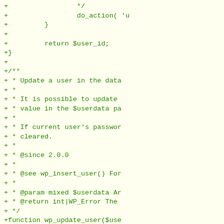[Figure (screenshot): Code diff showing PHP code additions (green lines with + prefix) including closing of a function returning $user_id, a JSDoc comment block for wp_update_user function, and the beginning of the wp_update_user function definition with conditional checks on $userdata.]